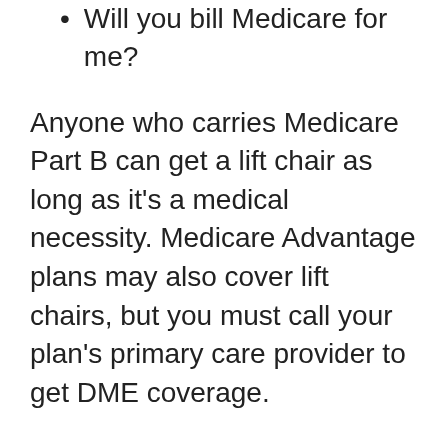Will you bill Medicare for me?
Anyone who carries Medicare Part B can get a lift chair as long as it’s a medical necessity. Medicare Advantage plans may also cover lift chairs, but you must call your plan’s primary care provider to get DME coverage.
Repair and maintenance requirements for durable medical equipment also vary depending on